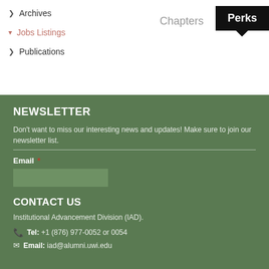Archives
Jobs Listings
Publications
Chapters
Perks
NEWSLETTER
Don't want to miss our interesting news and updates! Make sure to join our newsletter list.
Email *
CONTACT US
Institutional Advancement Division (IAD).
Tel: +1 (876) 977-0052 or 0054
Email: iad@alumni.uwi.edu